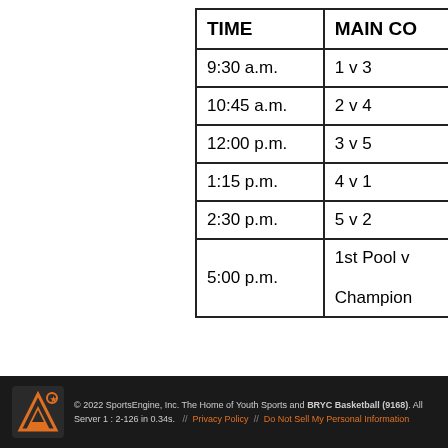| TIME | MAIN CO |
| --- | --- |
| 9:30 a.m. | 1 v 3 |
| 10:45 a.m. | 2 v 4 |
| 12:00 p.m. | 3 v 5 |
| 1:15 p.m. | 4 v 1 |
| 2:30 p.m. | 5 v 2 |
| 5:00 p.m. | 1st Pool v

Champion |
© 2022 SportsEngine, Inc. The Home of Youth Sports and BRYC Basketball (9168). All Server 1 : 2-126 in 0.34s.  //  Privacy Policy  //  Do Not Sell My Personal Information